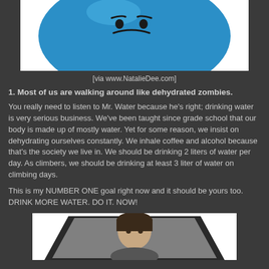[Figure (illustration): Blue cartoon ball character (Mr. Water) with a face, partially cropped, on white background]
[via www.NatalieDee.com]
1. Most of us are walking around like dehydrated zombies.
You really need to listen to Mr. Water because he's right; drinking water is very serious business.  We've been taught since grade school that our body is made up of mostly water.  Yet for some reason, we insist on dehydrating ourselves constantly.  We inhale coffee and alcohol because that's the society we live in.  We should be drinking 2 liters of water per day.  As climbers, we should be drinking at least 3 liter of water on climbing days.
This is my NUMBER ONE goal right now and it should be yours too.  DRINK MORE WATER.  DO IT.  NOW!
[Figure (photo): Person with dark hair shown from shoulders up inside a cup/container shape, on gray background]